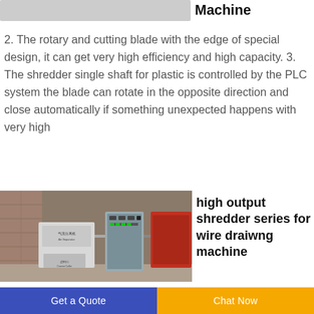[Figure (photo): Partial image of a machine (top section, cut off)]
Machine
2. The rotary and cutting blade with the edge of special design, it can get very high efficiency and high capacity. 3. The shredder single shaft for plastic is controlled by the PLC system the blade can rotate in the opposite direction and close automatically if something unexpected happens with very high
[Figure (photo): Industrial shredder and air separator machine setup with control panel, showing wire drawing machine components in a factory setting]
high output shredder series for wire draiwng machine
Get a Quote | Chat Now